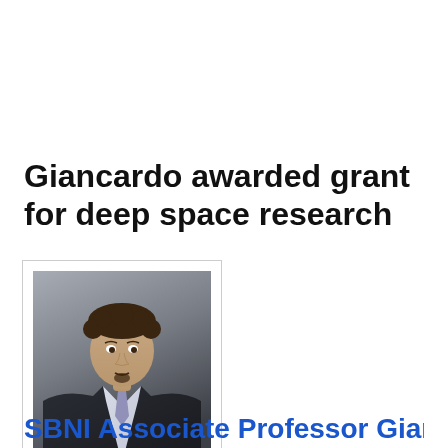Giancardo awarded grant for deep space research
[Figure (photo): Headshot of Luca Giancardo, PhD, a young man with curly dark hair and a goatee wearing a dark suit and light purple tie, photographed against a grey background.]
Luca Giancardo, PhD
Assistant Professor
SBMI Associate Professor Giancardo, PhD...